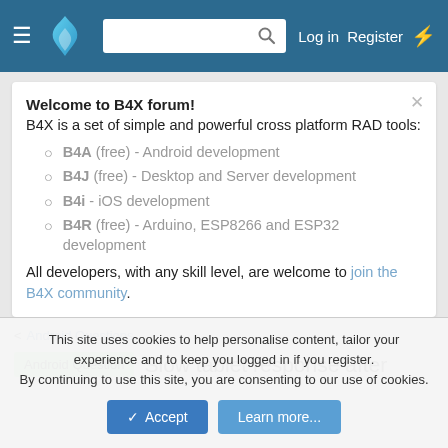B4X Forum navigation bar with hamburger menu, logo, search box, Log in, Register, and bolt icon
Welcome to B4X forum!
B4X is a set of simple and powerful cross platform RAD tools:
B4A (free) - Android development
B4J (free) - Desktop and Server development
B4i - iOS development
B4R (free) - Arduino, ESP8266 and ESP32 development
All developers, with any skill level, are welcome to join the B4X community.
Android Questions
Android Question  Slow tablet response after
This site uses cookies to help personalise content, tailor your experience and to keep you logged in if you register.
By continuing to use this site, you are consenting to our use of cookies.